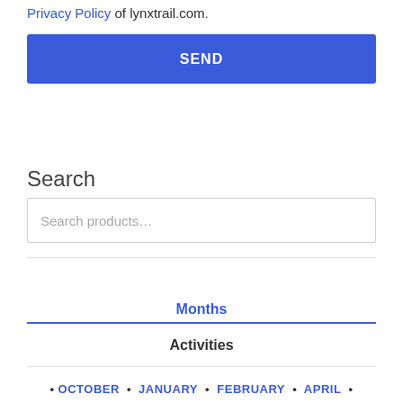Privacy Policy of lynxtrail.com.
SEND
Search
Search products…
Months
Activities
• OCTOBER • JANUARY • FEBRUARY • APRIL •